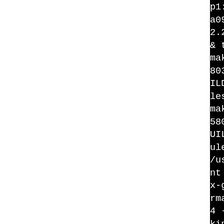[Figure (screenshot): Terminal/build log output showing make commands and compiler flags for building httpd-2.2.29 with gcc, including -O2, -fwrapv, -Werror=format-security, -fno-debug-types-section, -fstack-protector, -fomit-frame-pointer, -march=i486, -fasynchronous-unwind-tables, -gdwarf-4, -fvar-tracking-assignments flags]